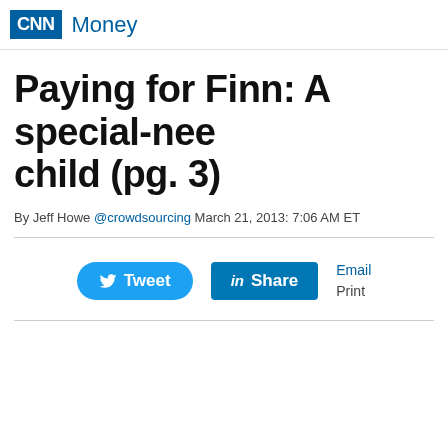CNN Money
Paying for Finn: A special-needs child (pg. 3)
By Jeff Howe @crowdsourcing March 21, 2013: 7:06 AM ET
[Figure (infographic): Social sharing buttons: Tweet (Twitter), Share (LinkedIn), Email, Print]